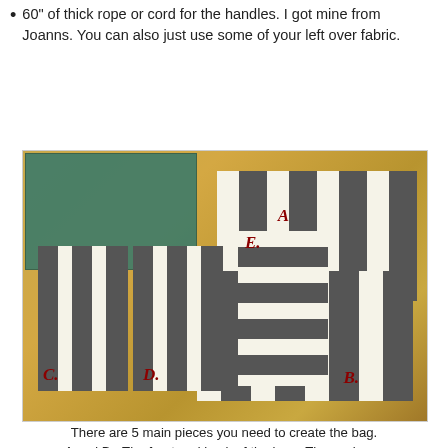60" of thick rope or cord for the handles.  I got mine from Joanns.  You can also just use some of your left over fabric.
[Figure (photo): Photo of a wooden table with five labeled fabric pieces (A, B, C, D, E) made of black and white/cream striped fabric laid out, along with a cutting mat and scissors in the top left corner.]
There are 5 main pieces you need to create the bag. A and B - The front and back of the bag.  These pieces measure 21" x 17 1/2" C and D - These are the side pieces of the bag.  They measure 7" x 17 1/2"